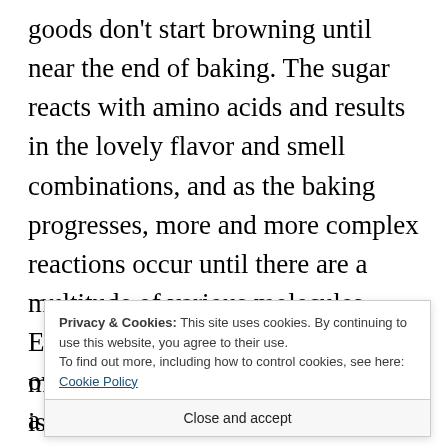goods don't start browning until near the end of baking. The sugar reacts with amino acids and results in the lovely flavor and smell combinations, and as the baking progresses, more and more complex reactions occur until there are a multitude of various molecules. Each food that can be put into an oven and baked or cooked produces a unique smell, which is why cooking meat does not smell like fresh baked
Privacy & Cookies: This site uses cookies. By continuing to use this website, you agree to their use. To find out more, including how to control cookies, see here: Cookie Policy
Close and accept
marveling at how awesome science is. But